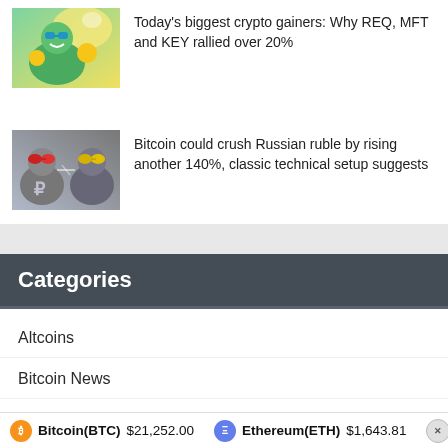[Figure (photo): Cartoon illustration of characters with crypto/gaming theme, colorful with green and yellow tones]
Today's biggest crypto gainers: Why REQ, MFT and KEY rallied over 20%
[Figure (photo): Cartoon illustration showing characters with Russian ruble symbol, fighting or competing scene]
Bitcoin could crush Russian ruble by rising another 140%, classic technical setup suggests
Categories
Altcoins
Bitcoin News
Cryptocurrency
Ethereum
Bitcoin(BTC) $21,252.00   Ethereum(ETH) $1,643.81   XRP(